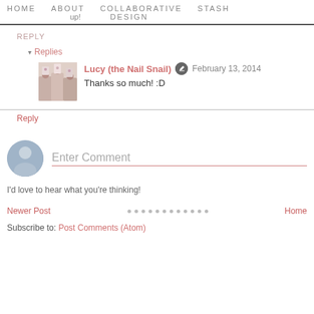HOME   ABOUT   COLLABORATIVE   STASH
up!   DESIGN
REPLY
▾ Replies
Lucy (the Nail Snail)  February 13, 2014
Thanks so much! :D
Reply
Enter Comment
I'd love to hear what you're thinking!
Newer Post
Home
Subscribe to: Post Comments (Atom)